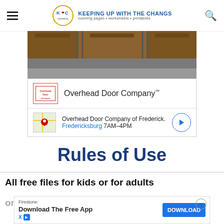KEEPING UP WITH THE CHANGS coloring pages • worksheets • printables
[Figure (photo): Partial view of a home exterior with wooden garage doors and concrete driveway]
[Figure (screenshot): Google ad result for Overhead Door Company with logo, business name, map thumbnail, location Fredericksburg, hours 7AM-4PM]
Rules of Use
All free files for kids or for adults on KeepingUpChangs.com are for personal use
[Figure (screenshot): Firestone download app banner ad with DOWNLOAD button]